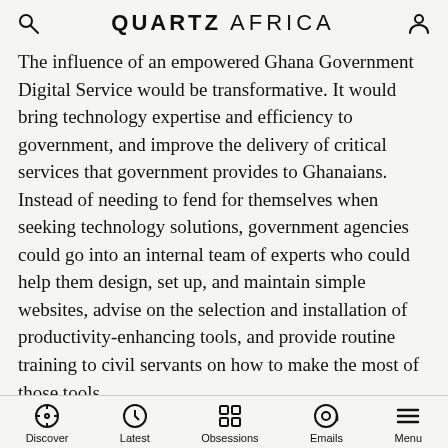QUARTZ AFRICA
The influence of an empowered Ghana Government Digital Service would be transformative. It would bring technology expertise and efficiency to government, and improve the delivery of critical services that government provides to Ghanaians. Instead of needing to fend for themselves when seeking technology solutions, government agencies could go into an internal team of experts who could help them design, set up, and maintain simple websites, advise on the selection and installation of productivity-enhancing tools, and provide routine training to civil servants on how to make the most of those tools.
“Forward ever, backward never.”
Discover  Latest  Obsessions  Emails  Menu